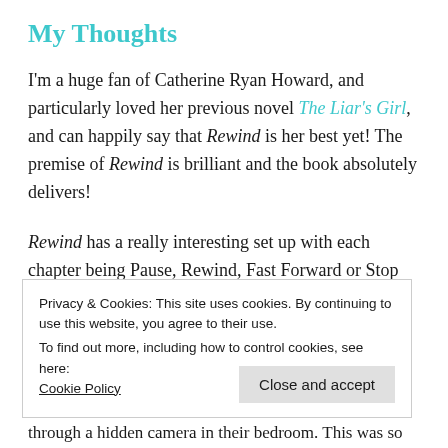My Thoughts
I'm a huge fan of Catherine Ryan Howard, and particularly loved her previous novel The Liar's Girl, and can happily say that Rewind is her best yet! The premise of Rewind is brilliant and the book absolutely delivers!
Rewind has a really interesting set up with each chapter being Pause, Rewind, Fast Forward or Stop and this is brilliant because it really helps you know where you are in a story that jumps around a little, as well as
Privacy & Cookies: This site uses cookies. By continuing to use this website, you agree to their use.
To find out more, including how to control cookies, see here:
Cookie Policy
through a hidden camera in their bedroom. This was so